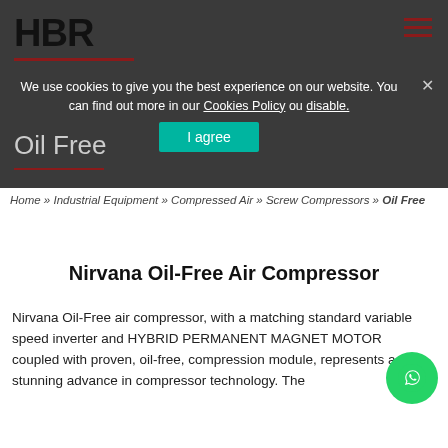HBR
We use cookies to give you the best experience on our website. You can find out more in our Cookies Policy ou disable.
Oil Free
Home » Industrial Equipment » Compressed Air » Screw Compressors » Oil Free
Nirvana Oil-Free Air Compressor
Nirvana Oil-Free air compressor, with a matching standard variable speed inverter and HYBRID PERMANENT MAGNET MOTOR coupled with proven, oil-free, compression module, represents a stunning advance in compressor technology. The